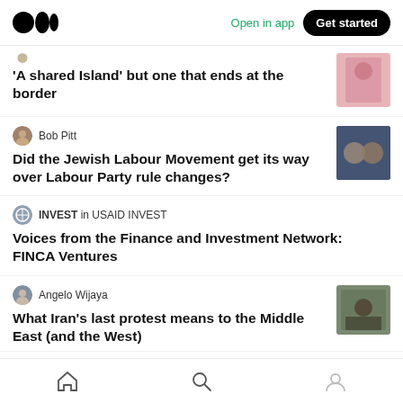Medium app header with logo, Open in app, Get started
'A shared Island' but one that ends at the border
Bob Pitt
Did the Jewish Labour Movement get its way over Labour Party rule changes?
INVEST in USAID INVEST
Voices from the Finance and Investment Network: FINCA Ventures
Angelo Wijaya
What Iran's last protest means to the Middle East (and the West)
Home, Search, Profile navigation icons